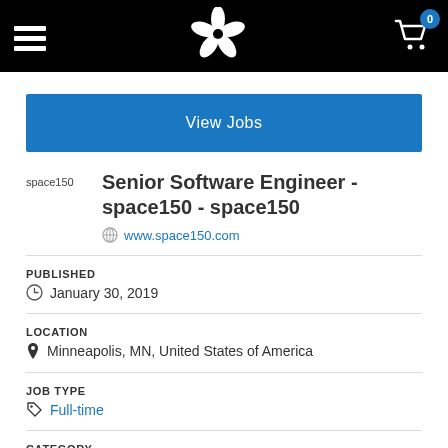Navigation bar with hamburger menu, flower logo, and cart icon (0 items)
View Jobs
Senior Software Engineer - space150 - space150
www.space150.com
PUBLISHED
January 30, 2019
LOCATION
Minneapolis, MN, United States of America
JOB TYPE
Full-time
CATEGORY